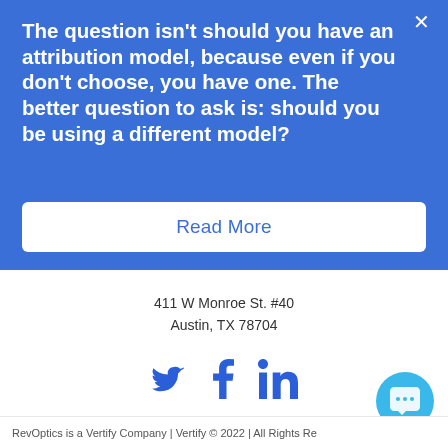The question isn't should you have an attribution model, because even if you don't choose, you have one. The better question to ask is: should you be using a different model?
Read More
411 W Monroe St. #40
Austin, TX 78704
[Figure (other): Social media icons: Twitter, Facebook, LinkedIn in blue]
RevOptics is a Vertify Company | Vertify © 2022 | All Rights Re